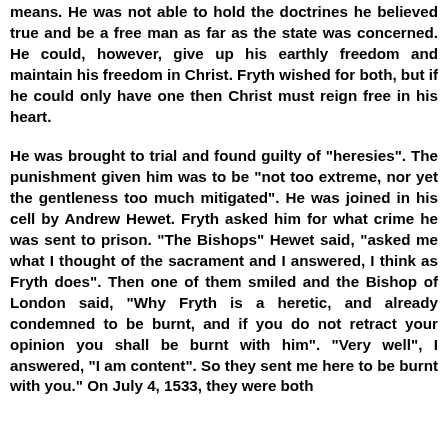means. He was not able to hold the doctrines he believed true and be a free man as far as the state was concerned. He could, however, give up his earthly freedom and maintain his freedom in Christ. Fryth wished for both, but if he could only have one then Christ must reign free in his heart.
He was brought to trial and found guilty of "heresies". The punishment given him was to be "not too extreme, nor yet the gentleness too much mitigated". He was joined in his cell by Andrew Hewet. Fryth asked him for what crime he was sent to prison. "The Bishops" Hewet said, "asked me what I thought of the sacrament and I answered, I think as Fryth does". Then one of them smiled and the Bishop of London said, "Why Fryth is a heretic, and already condemned to be burnt, and if you do not retract your opinion you shall be burnt with him". "Very well", I answered, "I am content". So they sent me here to be burnt with you." On July 4, 1533, they were both